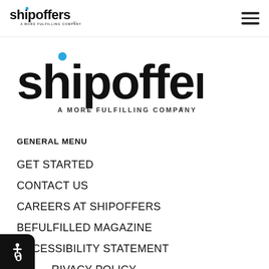shipoffers – A MORE FULFILLING COMPANY® [header logo + hamburger menu]
[Figure (logo): ShipOffers logo large: bold black lowercase text 'shipoffers' with a blue dot over the 'i', subtitle 'A MORE FULFILLING COMPANY®']
GENERAL MENU
GET STARTED
CONTACT US
CAREERS AT SHIPOFFERS
BEFULFILLED MAGAZINE
ACCESSIBILITY STATEMENT
PRIVACY POLICY